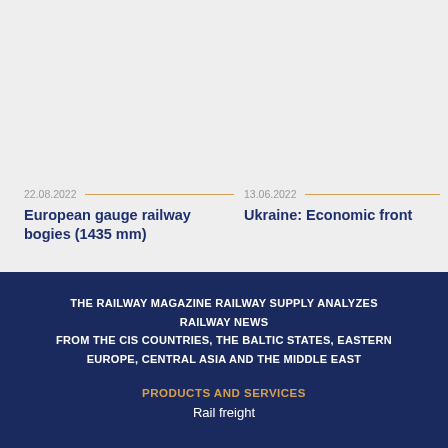22.08.2022
European gauge railway bogies (1435 mm)
13.06.2022
Ukraine: Economic front
THE RAILWAY MAGAZINE RAILWAY SUPPLY ANALYZES RAILWAY NEWS FROM THE CIS COUNTRIES, THE BALTIC STATES, EASTERN EUROPE, CENTRAL ASIA AND THE MIDDLE EAST
PRODUCTS AND SERVICES
Rail freight